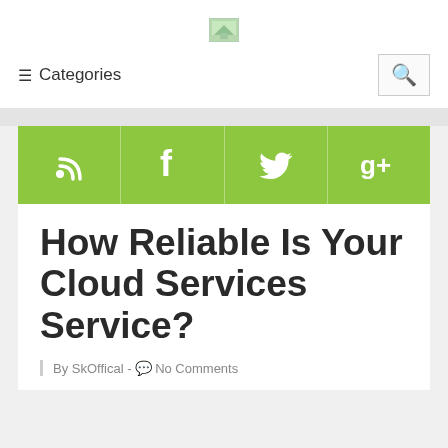[Figure (logo): Small website logo image in page header]
≡ Categories
[Figure (infographic): Green social media bar with RSS, Facebook, Twitter, and Google+ icons]
How Reliable Is Your Cloud Services Service?
By SkOffical - No Comments